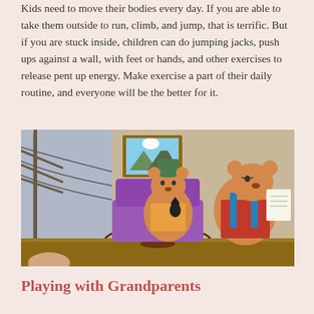Kids need to move their bodies every day. If you are able to take them outside to run, climb, and jump, that is terrific. But if you are stuck inside, children can do jumping jacks, push ups against a wall, with feet or hands, and other exercises to release pent up energy. Make exercise a part of their daily routine, and everyone will be the better for it.
[Figure (illustration): Illustration from Berenstain Bears showing bear characters sitting in a room. One bear is in a rocking chair, another bear in overalls holds a piece of paper. A small black bird figure and a framed painting are visible on a table in the background.]
Playing with Grandparents